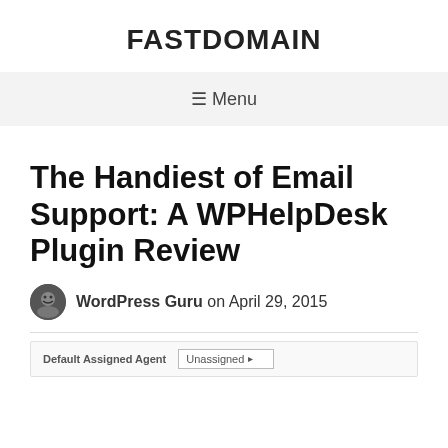FASTDOMAIN
☰ Menu
The Handiest of Email Support: A WPHelpDesk Plugin Review
WordPress Guru on April 29, 2015
[Figure (screenshot): Partial screenshot showing a settings row labeled 'Default Assigned Agent' with an 'Unassigned' dropdown selector]